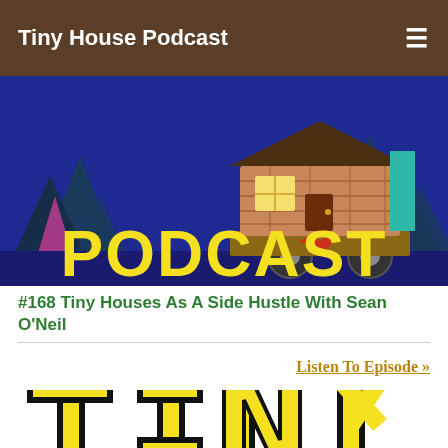Tiny House Podcast
[Figure (illustration): Colorful podcast logo illustration showing a tiny house on wheels with a cartoon style, set against a dark blue background with pine trees. Large yellow block letters spell 'PODCAST' at the bottom.]
#168 Tiny Houses As A Side Hustle With Sean O'Neil
Listen To Episode »
[Figure (illustration): Partial view of a logo with large yellow and black letters spelling 'TINY' in a bold comic style, partially cropped at the bottom of the page.]